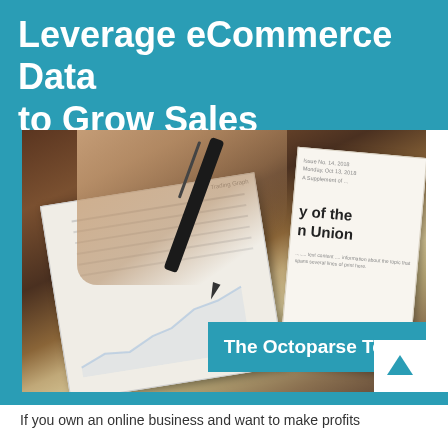Leverage eCommerce Data to Grow Sales
[Figure (photo): A hand holding a pen pointing at financial/trading charts and newspapers on a wooden desk]
The Octoparse Team
If you own an online business and want to make profits